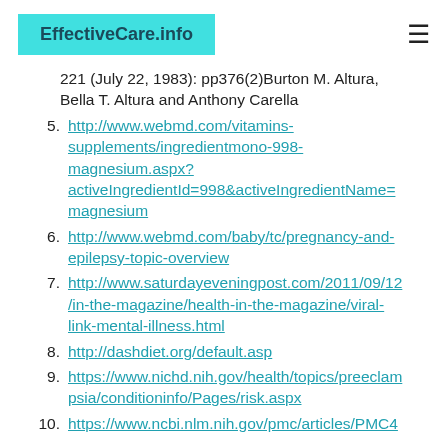EffectiveCare.info
221 (July 22, 1983): pp376(2)Burton M. Altura, Bella T. Altura and Anthony Carella
5. http://www.webmd.com/vitamins-supplements/ingredientmono-998-magnesium.aspx?activeIngredientId=998&activeIngredientName=magnesium
6. http://www.webmd.com/baby/tc/pregnancy-and-epilepsy-topic-overview
7. http://www.saturdayeveningpost.com/2011/09/12/in-the-magazine/health-in-the-magazine/viral-link-mental-illness.html
8. http://dashdiet.org/default.asp
9. https://www.nichd.nih.gov/health/topics/preeclampsia/conditioninfo/Pages/risk.aspx
10. https://www.ncbi.nlm.nih.gov/pmc/articles/PMC4